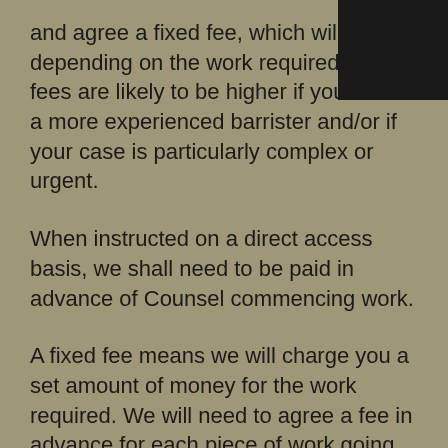and agree a fixed fee, which will vary depending on the work required. These fees are likely to be higher if you need a more experienced barrister and/or if your case is particularly complex or urgent.
When instructed on a direct access basis, we shall need to be paid in advance of Counsel commencing work.
A fixed fee means we will charge you a set amount of money for the work required. We will need to agree a fee in advance for each piece of work going forward. In cases other than direct access we are always willing to provide quotations or estimates of fees and a timetable for completing work. Fee quotations or estimates will usually be based on hourly/daily